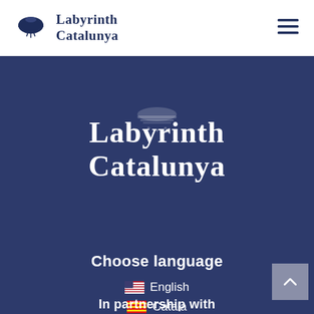Labyrinth Catalunya
[Figure (logo): Labyrinth Catalunya logo with dome/lantern icon and stylized text on dark blue background]
Choose language
English
Català
Castellano
In partnership with